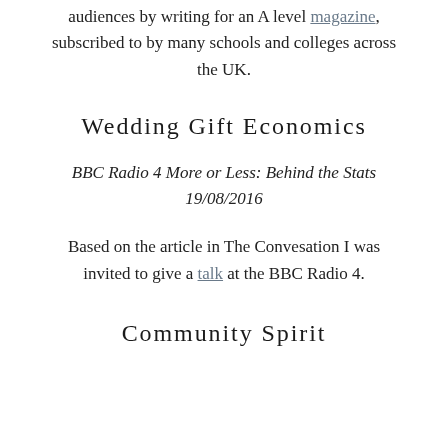audiences by writing for an A level magazine, subscribed to by many schools and colleges across the UK.
Wedding Gift Economics
BBC Radio 4 More or Less: Behind the Stats 19/08/2016
Based on the article in The Convesation I was invited to give a talk at the BBC Radio 4.
Community Spirit